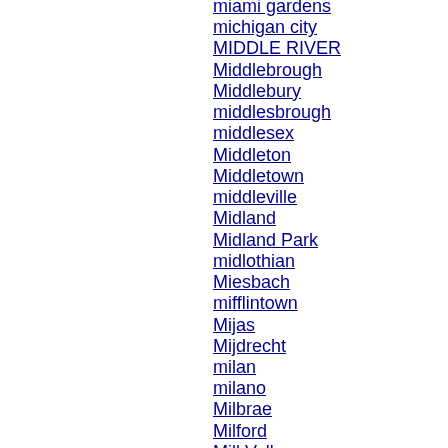miami gardens
michigan city
MIDDLE RIVER
Middlebrough
Middlebury
middlesbrough
middlesex
Middleton
Middletown
middleville
Midland
Midland Park
midlothian
Miesbach
mifflintown
Mijas
Mijdrecht
milan
milano
Milbrae
Milford
Mill Valley
Millbrae
Miller Place
Millgrove